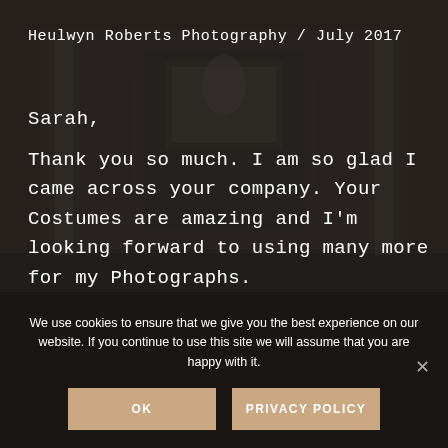Heulwyn Roberts Photography / July 2017
Sarah,
Thank you so much. I am so glad I came across your company. Your Costumes are amazing and I'm looking forward to using many more for my Photographs.
We use cookies to ensure that we give you the best experience on our website. If you continue to use this site we will assume that you are happy with it.
OK
PRIVACY POLICY